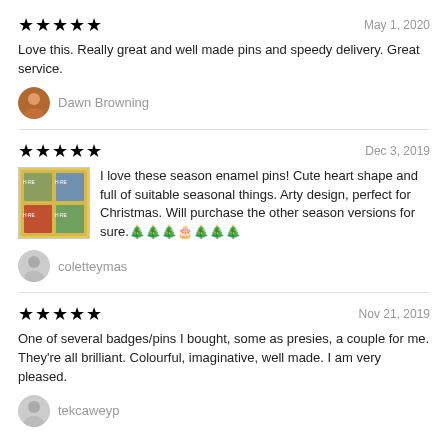★★★★★   May 1, 2020
Love this. Really great and well made pins and speedy delivery. Great service.
Dawn Browning
★★★★★   Dec 3, 2019
I love these season enamel pins! Cute heart shape and full of suitable seasonal things. Arty design, perfect for Christmas. Will purchase the other season versions for sure.🎄🎄🎄
coletteymas
★★★★★   Nov 21, 2019
One of several badges/pins I bought, some as presies, a couple for me. They're all brilliant. Colourful, imaginative, well made. I am very pleased.
tekcaweyp